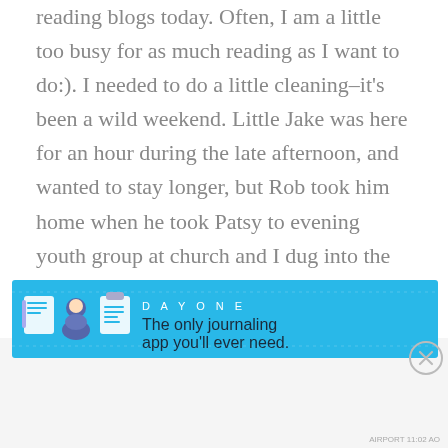reading blogs today. Often, I am a little too busy for as much reading as I want to do:). I needed to do a little cleaning–it's been a wild weekend. Little Jake was here for an hour during the late afternoon, and wanted to stay longer, but Rob took him home when he took Patsy to evening youth group at church and I dug into the mess. I'm feeling pretty happy about it because there are many Sundays when I don't have a lot of energy left by evening, but today I did, and it looks a lot better and lots
Advertisements
[Figure (other): DAY ONE app advertisement banner. Blue background with illustrated icons of a journal/notebook, a person, and a clipboard/list. Text reads: DAY ONE — The only journaling app you'll ever need.]
AIRPORT 11:02 AO